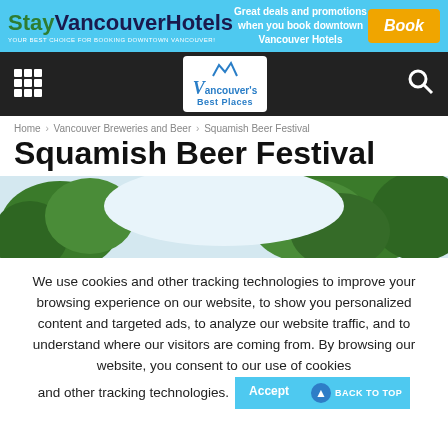[Figure (screenshot): StayVancouverHotels banner advertisement with blue background. Left: 'Stay' in green bold and 'VancouverHotels' in dark bold with tagline 'YOUR BEST CHOICE FOR BOOKING DOWNTOWN VANCOUVER!'. Center: 'Great deals and promotions when you book downtown Vancouver Hotels'. Right: orange 'Book' button.]
[Figure (screenshot): Dark navigation bar with a 3x3 grid icon on the left, Vancouver's Best Places logo in the center, and a search magnifier icon on the right.]
Home › Vancouver Breweries and Beer › Squamish Beer Festival
Squamish Beer Festival
[Figure (photo): Outdoor photo showing trees with green foliage against a light sky, cropped to a wide banner format.]
We use cookies and other tracking technologies to improve your browsing experience on our website, to show you personalized content and targeted ads, to analyze our website traffic, and to understand where our visitors are coming from. By browsing our website, you consent to our use of cookies and other tracking technologies.
Accept
BACK TO TOP